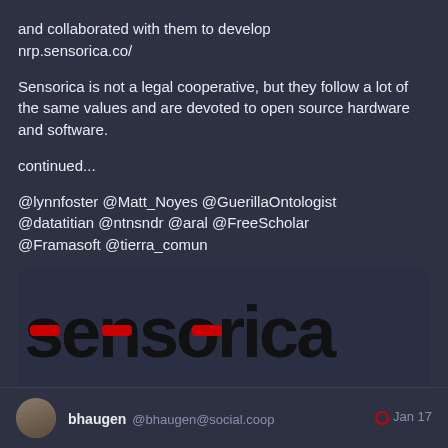and collaborated with them to develop nrp.sensorica.co/
Sensorica is not a legal cooperative, but they follow a lot of the same values and are devoted to open source hardware and software.
continued...
@lynnfoster @Matt_Noyes @GuerillaOntologist @datatitian @ntnsndr @aral @FreeScholar @Framasoft @tierra_comun
[Figure (screenshot): Sensorica website card showing the Sensorica logo (stylized text with red dashes replacing letters) and tagline 'peer into the future', with URL www.sensorica.co]
1 (reply, retweet, favorite action icons)
bhaugen @bhaugen@social.coop  Jan 17